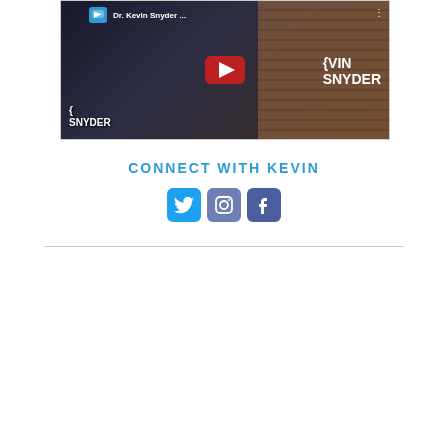[Figure (screenshot): YouTube video thumbnail for Dr. Kevin Snyder, showing a play button, person in dark clothing, brick wall background, and text overlays including 'KEVIN SNYDER']
CONNECT WITH KEVIN
[Figure (infographic): Three social media icons: Twitter (blue bird icon), Instagram (camera icon, grey-blue), Facebook (f icon, dark blue)]